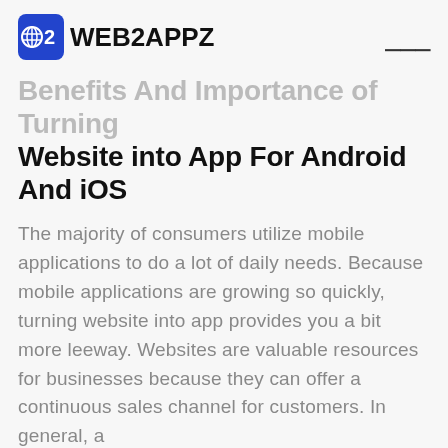WEB2APPZ
Benefits And Importance of Turning Website into App For Android And iOS
The majority of consumers utilize mobile applications to do a lot of daily needs. Because mobile applications are growing so quickly, turning website into app provides you a bit more leeway. Websites are valuable resources for businesses because they can offer a continuous sales channel for customers. In general, a
Read more >